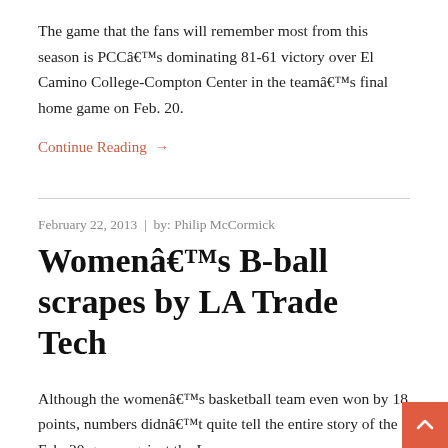The game that the fans will remember most from this season is PCCâ€™s dominating 81-61 victory over El Camino College-Compton Center in the teamâ€™s final home game on Feb. 20.
Continue Reading →
February 22, 2013  |  by: Philip McCormick
Womenâ€™s B-ball scrapes by LA Trade Tech
Although the womenâ€™s basketball team even won by 18 points, numbers didnâ€™t quite tell the entire story of the Feb. 20 game against the La...